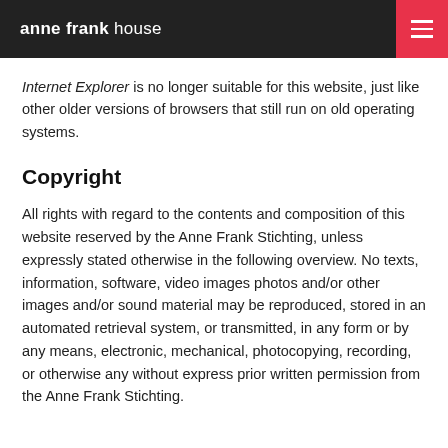anne frank house
Internet Explorer is no longer suitable for this website, just like other older versions of browsers that still run on old operating systems.
Copyright
All rights with regard to the contents and composition of this website reserved by the Anne Frank Stichting, unless expressly stated otherwise in the following overview. No texts, information, software, video images photos and/or other images and/or sound material may be reproduced, stored in an automated retrieval system, or transmitted, in any form or by any means, electronic, mechanical, photocopying, recording, or otherwise any without express prior written permission from the Anne Frank Stichting.